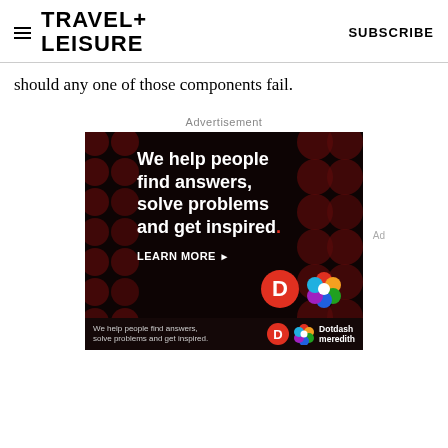TRAVEL+ LEISURE   SUBSCRIBE
should any one of those components fail.
Advertisement
[Figure (illustration): Dotdash Meredith advertisement on black background with dark red polka dots pattern. White bold text reads 'We help people find answers, solve problems and get inspired.' with a red period. 'LEARN MORE' with arrow. Dotdash 'D' logo in red circle and Meredith colorful flower logo shown. Bottom bar repeats tagline with logos and 'Dotdash meredith' text.]